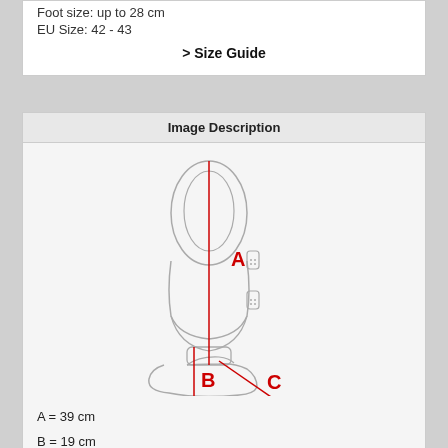Foot size: up to 28 cm
EU Size: 42 - 43
> Size Guide
Image Description
[Figure (schematic): Line drawing of a shin guard/leg protector with three measurement indicators: A (vertical red line through the shin pad, measuring length), B (red line through the foot/instep area), and C (diagonal red line measuring the foot length). Labels A, B, C are shown in red text on the diagram.]
A = 39 cm
B = 19 cm
C = 27 cm